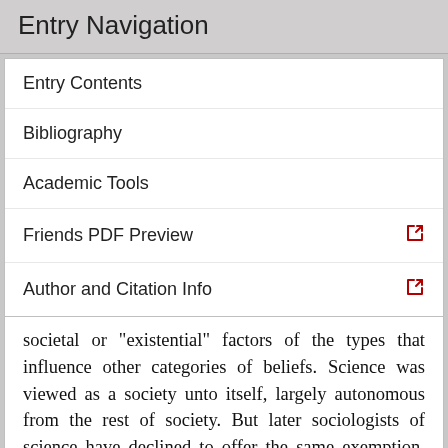Entry Navigation
Entry Contents
Bibliography
Academic Tools
Friends PDF Preview
Author and Citation Info
societal or "existential" factors of the types that influence other categories of beliefs. Science was viewed as a society unto itself, largely autonomous from the rest of society. But later sociologists of science have declined to offer the same exemption. The Edinburgh School contends that all scientific beliefs are on a par with other beliefs in terms of their causes. Barry Barnes and David Bloor formulated a "symmetry" or "equivalence" postulate, according to which all beliefs are on a par with respect to the causes of their credibility (1982). Many historical case studies conducted in this tradition have